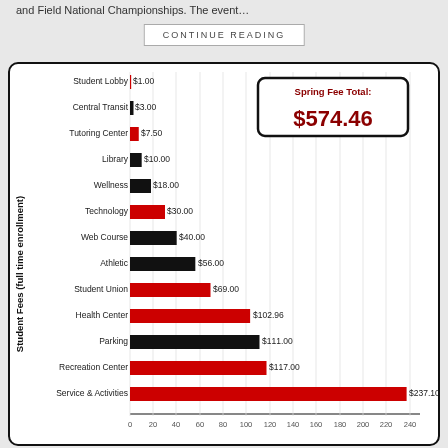and Field National Championships. The event…
CONTINUE READING
[Figure (bar-chart): Student Fees (full time enrollment)]
Spring Fee Total: $574.46